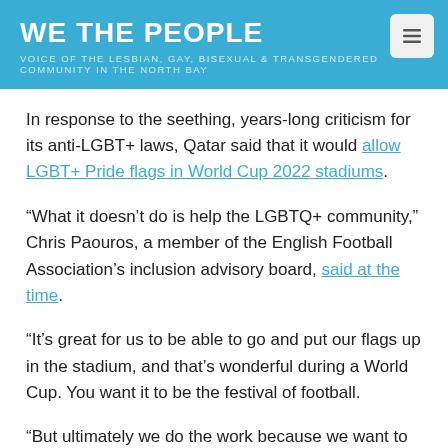WE THE PEOPLE
VOICE OF THE LESBIAN, GAY, BISEXUAL & TRANSGENDERED COMMUNITY IN THE NORTH BAY
In response to the seething, years-long criticism for its anti-LGBT+ laws, Qatar said that it would allow LGBT+ Pride flags in World Cup 2022 stadiums.
“What it doesn’t do is help the LGBTQ+ community,” Chris Paouros, a member of the English Football Association’s inclusion advisory board, said at the time.
“It’s great for us to be able to go and put our flags up in the stadium, and that’s wonderful during a World Cup. You want it to be the festival of football.
“But ultimately we do the work because we want to make sure that everybody can be free to be who they are and if you’re a Qatari and you’re not able to, then it just feels like